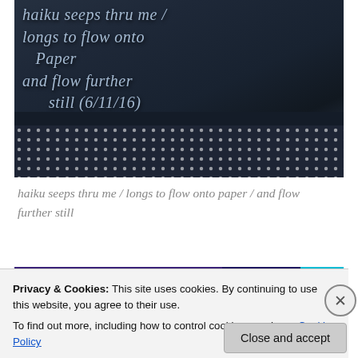[Figure (photo): Close-up photo of dark fabric/bag with handwritten text in light blue/white ink reading 'haiku seeps thru me / longs to flow onto paper / and flow further still' with mesh netting visible at the bottom]
haiku seeps thru me / longs to flow onto paper / and flow further still
[Figure (photo): Partially visible image below the caption with purple, dark, and cyan colored bars]
Privacy & Cookies: This site uses cookies. By continuing to use this website, you agree to their use.
To find out more, including how to control cookies, see here: Cookie Policy